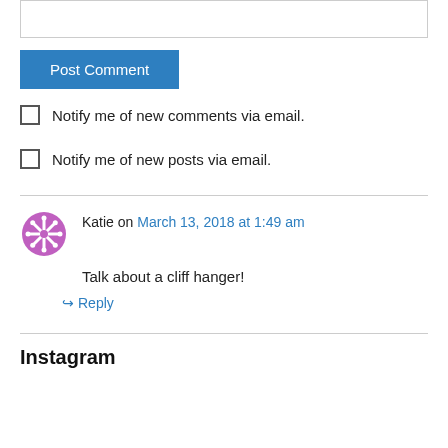[Figure (other): Text input area (partially visible at top)]
Post Comment
Notify me of new comments via email.
Notify me of new posts via email.
Katie on March 13, 2018 at 1:49 am
Talk about a cliff hanger!
Reply
Instagram